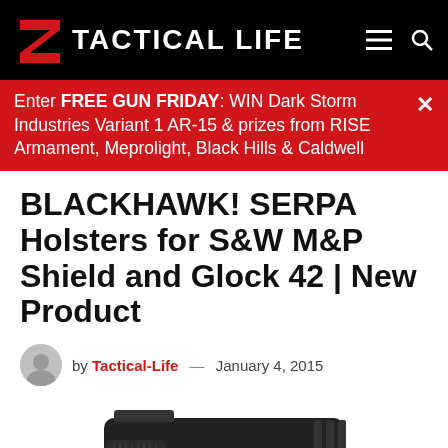TACTICAL LIFE
Enter FREE GUN FRIDAY: WIN Dark Storm Industries Variant 1 AR-15 & prizes from RISE Armament, Meprolight, Black Hills & Caldwell
BLACKHAWK! SERPA Holsters for S&W M&P Shield and Glock 42 | New Product
by Tactical-Life — January 4, 2015
[Figure (photo): BLACKHAWK SERPA holster with pistol, product photo]